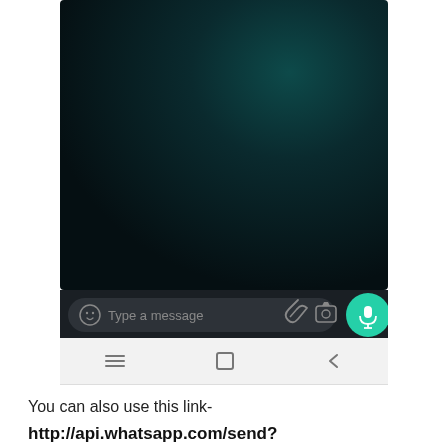[Figure (screenshot): WhatsApp chat interface screenshot showing a dark chat background, message input bar with emoji icon, 'Type a message' placeholder, clip icon, camera icon, and a teal microphone send button. Below the chat area is an Android navigation bar with hamburger menu, home square, and back arrow icons.]
You can also use this link-
http://api.whatsapp.com/send?